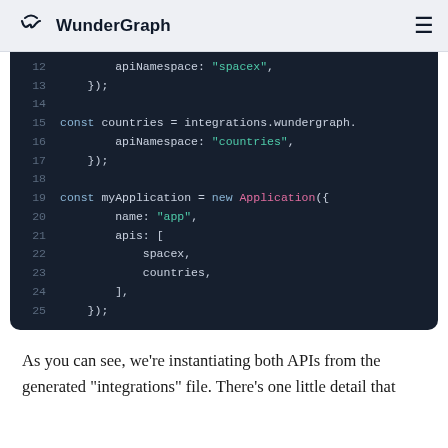WunderGraph
[Figure (screenshot): Code block showing JavaScript code lines 12–25 with WunderGraph API configuration: spacex and countries integrations, and an Application instantiation with name 'app' and apis array containing spacex and countries.]
As you can see, we're instantiating both APIs from the generated "integrations" file. There's one little detail that